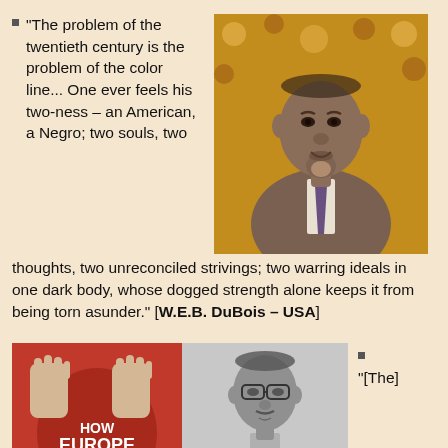“The problem of the twentieth century is the problem of the color line... One ever feels his two-ness – an American, a Negro; two souls, two thoughts, two unreconciled strivings; two warring ideals in one dark body, whose dogged strength alone keeps it from being torn asunder.” [W.E.B. DuBois – USA]
[Figure (photo): Portrait photo of W.E.B. DuBois, an elderly Black man in a suit and tie, seated in front of a patterned African textile backdrop]
[Figure (photo): Book cover of 'How Europe Underdeveloped Africa' showing two fists breaking chains over a red background with the African continent, alongside a black-and-white photograph of a young African man with glasses and folded arms]
“[The]